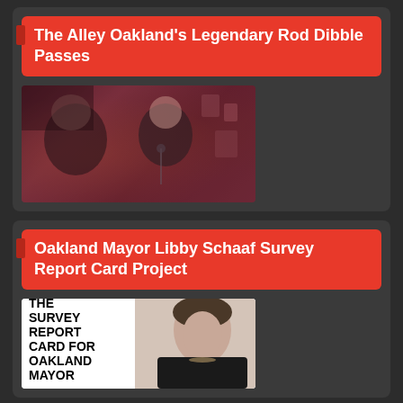The Alley Oakland's Legendary Rod Dibble Passes
[Figure (photo): A man performing or seated at a bar in a dimly lit, cluttered bar interior with reddish lighting and various memorabilia on the walls]
Oakland Mayor Libby Schaaf Survey Report Card Project
[Figure (photo): Survey Report Card image with bold text reading 'THE SURVEY REPORT CARD FOR OAKLAND MAYOR' alongside a photo of Mayor Libby Schaaf smiling]